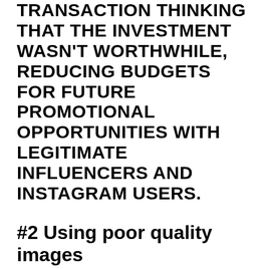TRANSACTION THINKING THAT THE INVESTMENT WASN'T WORTHWHILE, REDUCING BUDGETS FOR FUTURE PROMOTIONAL OPPORTUNITIES WITH LEGITIMATE INFLUENCERS AND INSTAGRAM USERS.
#2 Using poor quality images
When your potential customer first looks at your Instagram profile and discovers videos and visuals with low quality, means that you are sending him that exact message which is not good for the first impression.